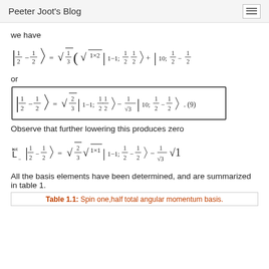Peeter Joot's Blog
we have
or
Observe that further lowering this produces zero
All the basis elements have been determined, and are summarized in table 1.
Table 1.1: Spin one,half total angular momentum basis.